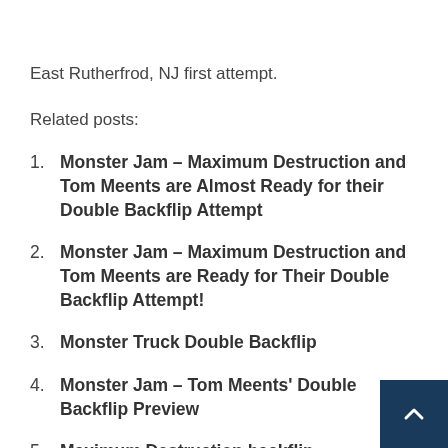East Rutherfrod, NJ first attempt.
Related posts:
Monster Jam – Maximum Destruction and Tom Meents are Almost Ready for their Double Backflip Attempt
Monster Jam – Maximum Destruction and Tom Meents are Ready for Their Double Backflip Attempt!
Monster Truck Double Backflip
Monster Jam – Tom Meents' Double Backflip Preview
Maximum Destruction backflip